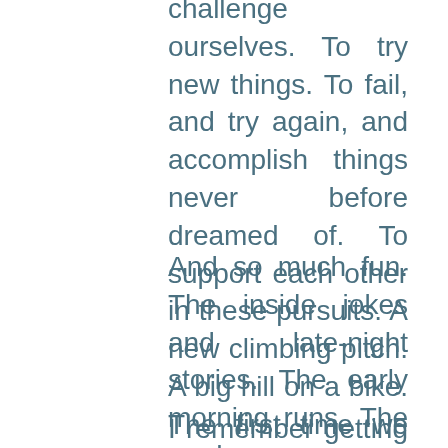challenge ourselves. To try new things. To fail, and try again, and accomplish things never before dreamed of. To support each other in these pursuits. A new climbing pitch. A big hill on a bike. The first time we led a prayer. A new food we cooked. A new knot we learned and got to use in the backcountry.
And so much fun. The inside jokes and late-night stories. The early morning runs. The made-up games like Ultimate Soccer and Capiscular Avengers. The camp song's unofficial lyrics. The Shabbat everything.
I remember getting our paychecks that first summer – on the porch of